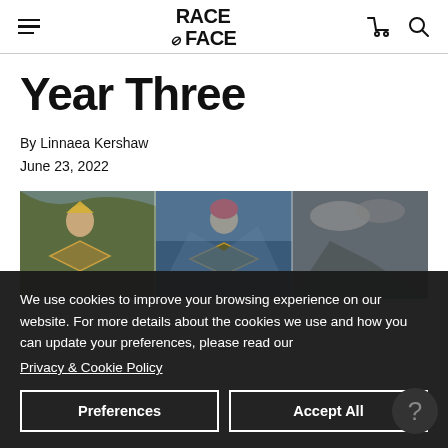Race Face navigation header with hamburger menu, Race Face logo, cart and search icons
Year Three
By Linnaea Kershaw
June 23, 2022
[Figure (illustration): Illustrated banner image showing artistic painted panels with mountain biking themed artwork, figures with helmets and chevron symbols against mountain/sky backgrounds]
We use cookies to improve your browsing experience on our website. For more details about the cookies we use and how you can update your preferences, please read our
Privacy & Cookie Policy
Preferences
Accept All